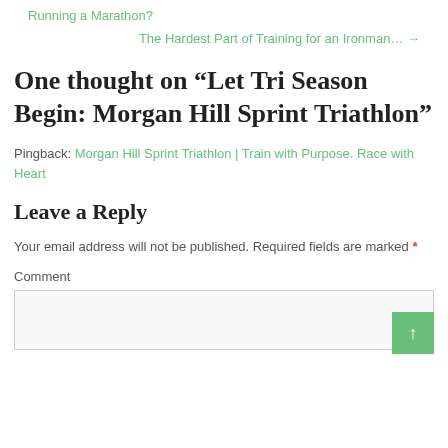Running a Marathon?
The Hardest Part of Training for an Ironman… →
One thought on “Let Tri Season Begin: Morgan Hill Sprint Triathlon”
Pingback: Morgan Hill Sprint Triathlon | Train with Purpose. Race with Heart
Leave a Reply
Your email address will not be published. Required fields are marked *
Comment